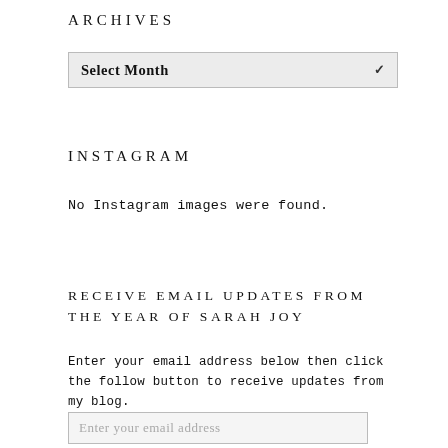ARCHIVES
[Figure (screenshot): A dropdown select box with label 'Select Month' and a dropdown arrow]
INSTAGRAM
No Instagram images were found.
RECEIVE EMAIL UPDATES FROM THE YEAR OF SARAH JOY
Enter your email address below then click the follow button to receive updates from my blog.
[Figure (screenshot): An email address input field with placeholder text 'Enter your email address']